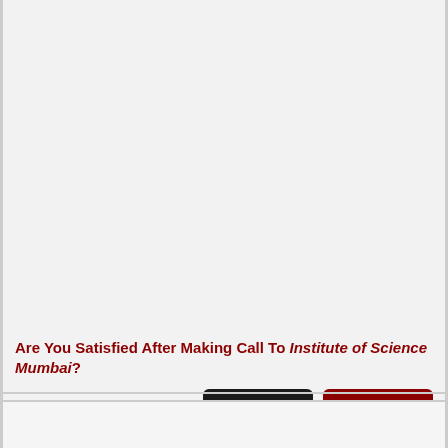Are You Satisfied After Making Call To Institute of Science Mumbai?